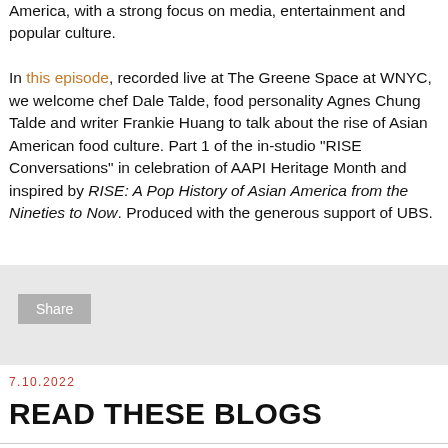America, with a strong focus on media, entertainment and popular culture.

In this episode, recorded live at The Greene Space at WNYC, we welcome chef Dale Talde, food personality Agnes Chung Talde and writer Frankie Huang to talk about the rise of Asian American food culture. Part 1 of the in-studio "RISE Conversations" in celebration of AAPI Heritage Month and inspired by RISE: A Pop History of Asian America from the Nineties to Now. Produced with the generous support of UBS.
[Figure (other): Share button area with light gray background and a gray Share button]
7.10.2022
READ THESE BLOGS